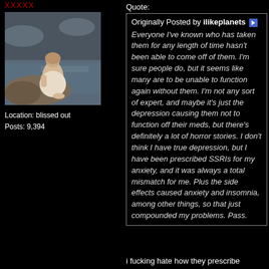XXXXX
[Figure (photo): Painting of a woman sitting on rocks by the sea]
Location: blissed out
Posts: 9,394
Quote:
Originally Posted by ilikeplanets
Everyone I've known who has taken them for any length of time hasn't been able to come off of them. I'm sure people do, but it seems like many are to be unable to function again without them. I'm not any sort of expert, and maybe it's just the depression causing them not to function off their meds, but there's definitely a lot of horror stories. I don't think I have true depression, but I have been prescribed SSRIs for my anxiety, and it was always a total mismatch for me. Plus the side effects caused anxiety and insomnia, among other things, so that just compounded my problems. Pass.
i fucking hate how they prescribe